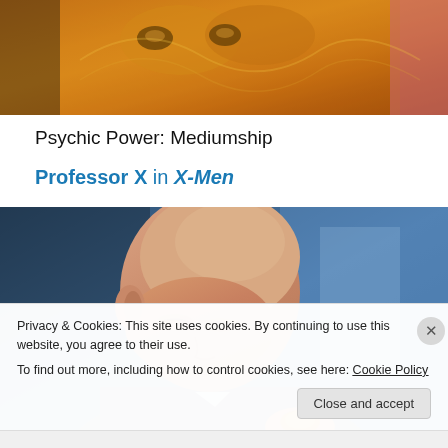[Figure (photo): Golden decorative mask or artifact with cat-like eyes, warm amber/gold tones, partial view of a person in pink at the right edge.]
Psychic Power: Mediumship
Professor X in X-Men
[Figure (photo): Bald man in a suit looking downward, blue blurred background, appears to be at an event.]
Privacy & Cookies: This site uses cookies. By continuing to use this website, you agree to their use.
To find out more, including how to control cookies, see here: Cookie Policy
Close and accept